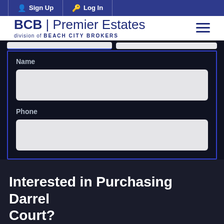Sign Up | Log In
[Figure (logo): BCB Premier Estates logo, division of BEACH CITY BROKERS, with hamburger menu icon]
Name
Phone
Interested in Purchasing Darrel Court?